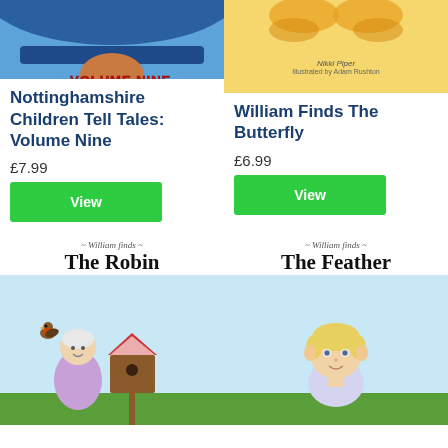[Figure (illustration): Book cover for Nottinghamshire Children Tell Tales: Volume Nine, showing cartoon characters with blue background and red 'VOLUME NINE' text]
Nottinghamshire Children Tell Tales: Volume Nine
£7.99
View
[Figure (illustration): Book cover for William Finds The Butterfly, showing yellow background with author Nikki Piper and illustrator Adam Rushton credits]
William Finds The Butterfly
£6.99
View
[Figure (illustration): Book cover for William Finds The Robin, showing an elderly woman with a birdhouse and a robin bird on a light blue background]
[Figure (illustration): Book cover for William Finds The Feather, showing a young boy with blonde hair on a light blue background]